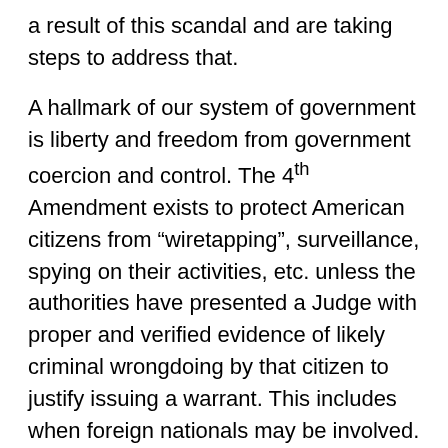a result of this scandal and are taking steps to address that.
A hallmark of our system of government is liberty and freedom from government coercion and control. The 4th Amendment exists to protect American citizens from "wiretapping", surveillance, spying on their activities, etc. unless the authorities have presented a Judge with proper and verified evidence of likely criminal wrongdoing by that citizen to justify issuing a warrant. This includes when foreign nationals may be involved.
The critical issue here is one party then in power using law enforcement tools to spy on its political opponents (and maybe beyond them as well) on the basis of evidence that was false and paid for by their favored candidate's political campaign. If as we are told by Mr.